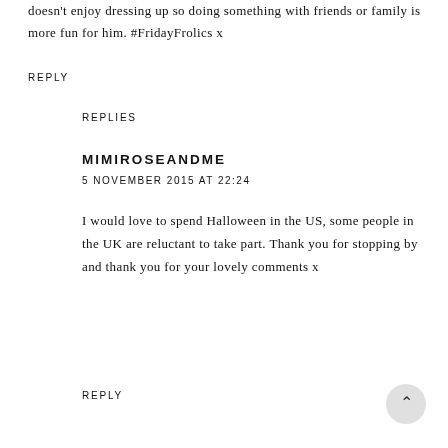doesn't enjoy dressing up so doing something with friends or family is more fun for him. #FridayFrolics x
REPLY
REPLIES
MIMIROSEANDME
5 NOVEMBER 2015 AT 22:24
I would love to spend Halloween in the US, some people in the UK are reluctant to take part. Thank you for stopping by and thank you for your lovely comments x
REPLY